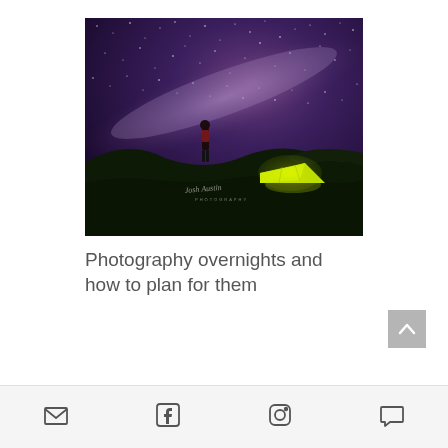[Figure (photo): Night sky astrophotography showing the Milky Way arching over a dark landscape. A person in a red jacket stands silhouetted against the starry sky, with a bright yellow-green illuminated tent in the foreground on grassy terrain. Watermark reads 'Josh Austin Photography'.]
Photography overnights and how to plan for them
[Figure (infographic): Footer bar with four social/contact icons: email envelope, Facebook 'f', Instagram camera circle, and speech bubble comment icon.]